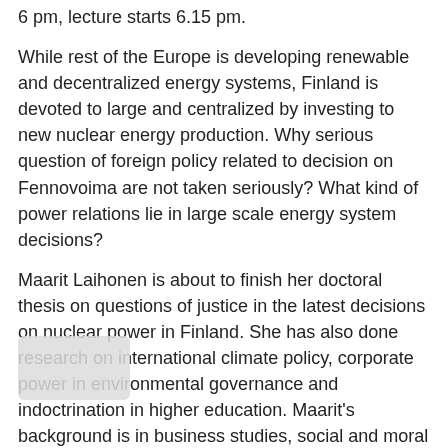6 pm, lecture starts 6.15 pm.
While rest of the Europe is developing renewable and decentralized energy systems, Finland is devoted to large and centralized by investing to new nuclear energy production. Why serious question of foreign policy related to decision on Fennovoima are not taken seriously? What kind of power relations lie in large scale energy system decisions?
Maarit Laihonen is about to finish her doctoral thesis on questions of justice in the latest decisions on nuclear power in Finland. She has also done research on international climate policy, corporate power in environmental governance and indoctrination in higher education. Maarit's background is in business studies, social and moral philosophy and environmental studies.
Lecture on facebook: https://www.facebook.com/events/53330207347711
After the lecture a radiant party:
https://www.facebook.com/events/963737130324553/